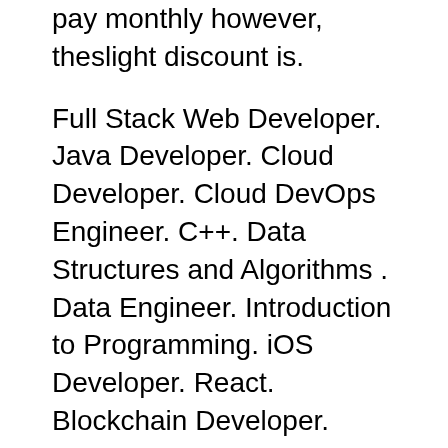pay monthly however, theslight discount is.
Full Stack Web Developer. Java Developer. Cloud Developer. Cloud DevOps Engineer. C++. Data Structures and Algorithms . Data Engineer. Introduction to Programming. iOS Developer. React. Blockchain Developer. Android Developer. Android Basics. Artificial Intelligence . Back to Menu. Nanodegree Programs; Intro to Machine Learning with TensorFlow. AI Product Manager. Intro to ... Full Stack Web Developer Nanodegree, iOS Developer Nanodegree, Machine Learning Engineer Nanodegree, and More . Fatos Morina. Follow. Jul 29, 2019 · ...